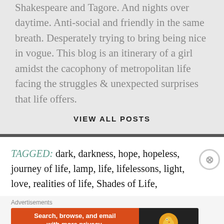Shakespeare and Tagore. And nights over daytime. Anti-social and friendly in the same breath. Desperately trying to bring being nice in vogue. This blog is an itinerary of a girl amidst the cacophony of metropolitan life facing the struggles & unexpected surprises that life offers.
VIEW ALL POSTS
TAGGED: dark, darkness, hope, hopeless, journey of life, lamp, life, lifelessons, light, love, realities of life, Shades of Life,
[Figure (other): DuckDuckGo advertisement banner: orange section with text 'Search, browse, and email with more privacy. All in One Free App' and dark section with DuckDuckGo duck logo]
Advertisements